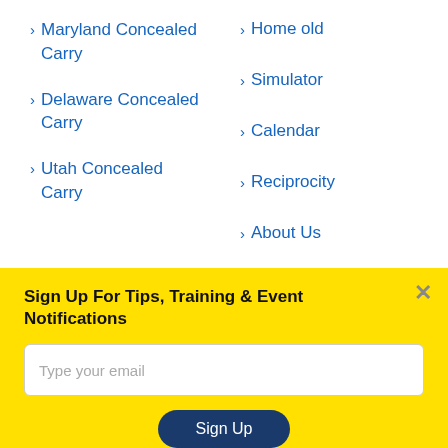Maryland Concealed Carry
Delaware Concealed Carry
Utah Concealed Carry
Home old
Simulator
Calendar
Reciprocity
About Us
Contact Us
Sign Up For Tips, Training & Event Notifications
Type your email
Sign Up